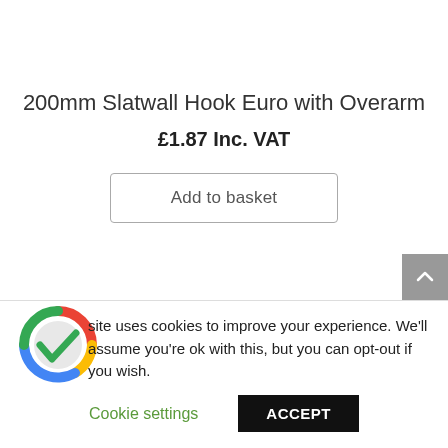200mm Slatwall Hook Euro with Overarm
£1.87 Inc. VAT
Add to basket
site uses cookies to improve your experience. We'll assume you're ok with this, but you can opt-out if you wish.
Cookie settings
ACCEPT